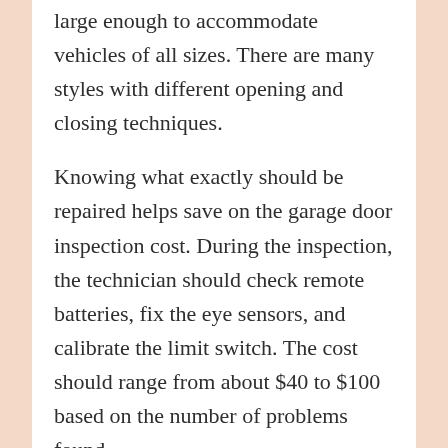large enough to accommodate vehicles of all sizes. There are many styles with different opening and closing techniques.
Knowing what exactly should be repaired helps save on the garage door inspection cost. During the inspection, the technician should check remote batteries, fix the eye sensors, and calibrate the limit switch. The cost should range from about $40 to $100 based on the number of problems found.
Because of wear and tear, you'll occasionally need garage door maintenance and repair. When you notice a problem, seem it is important to call